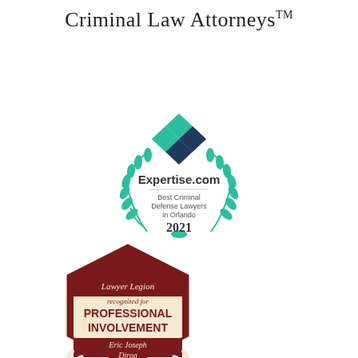Criminal Law Attorneys™
[Figure (logo): Expertise.com badge: Best Criminal Defense Lawyers in Orlando 2021, with teal diamond logo and laurel wreath]
[Figure (logo): Lawyer Legion badge: recognized for PROFESSIONAL INVOLVEMENT, Eric Joseph Dirga, dark red hexagonal shield shape with laurel]